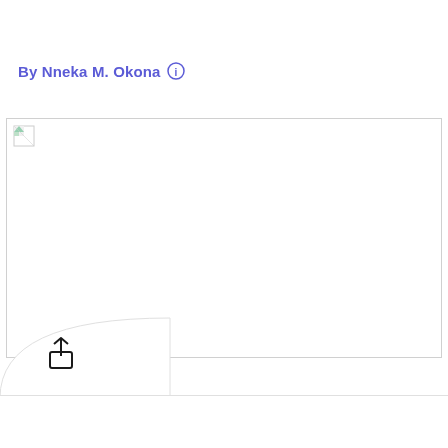By Nneka M. Okona  ℹ
[Figure (photo): A large image placeholder with a broken image icon in the top-left corner, bordered by a light gray rectangle]
[Figure (other): Share/upload icon (arrow pointing up from a box) inside a rounded quarter-circle panel at the bottom left]
(cut off text at bottom)